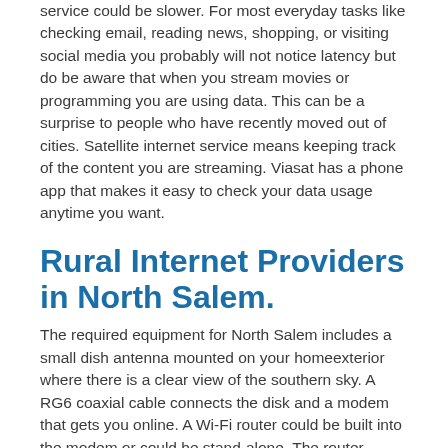service could be slower. For most everyday tasks like checking email, reading news, shopping, or visiting social media you probably will not notice latency but do be aware that when you stream movies or programming you are using data. This can be a surprise to people who have recently moved out of cities. Satellite internet service means keeping track of the content you are streaming. Viasat has a phone app that makes it easy to check your data usage anytime you want.
Rural Internet Providers in North Salem.
The required equipment for North Salem includes a small dish antenna mounted on your homeexterior where there is a clear view of the southern sky. A RG6 coaxial cable connects the disk and a modem that gets you online. A Wi-Fi router could be built into the modem or could be stand-alone. The router extends your